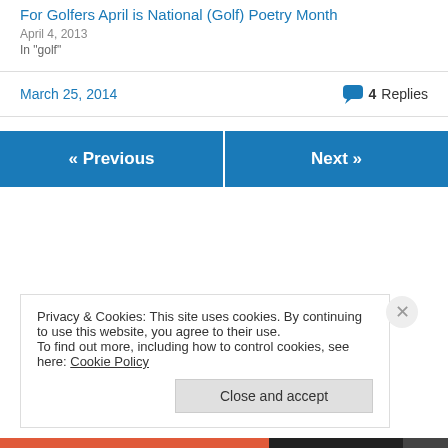For Golfers April is National (Golf) Poetry Month
April 4, 2013
In "golf"
March 25, 2014 — 4 Replies
« Previous
Next »
Privacy & Cookies: This site uses cookies. By continuing to use this website, you agree to their use. To find out more, including how to control cookies, see here: Cookie Policy
Close and accept